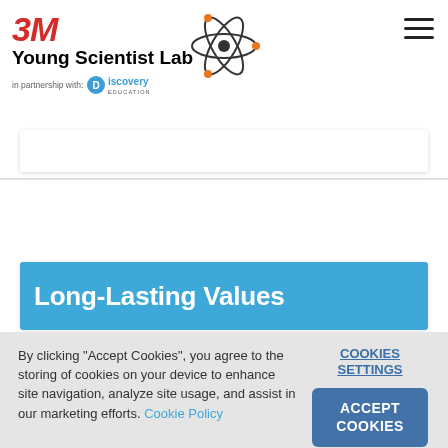3M Young Scientist Lab in partnership with Discovery Education
[Figure (logo): 3M Young Scientist Lab logo with atom icon and Discovery Education partnership logo]
Long-Lasting Values
By clicking "Accept Cookies", you agree to the storing of cookies on your device to enhance site navigation, analyze site usage, and assist in our marketing efforts. Cookie Policy